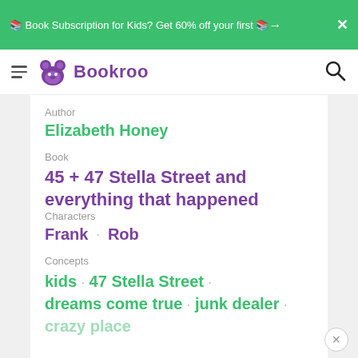📚 Book Subscription for Kids? Get 60% off your first 📚 →
[Figure (logo): Bookroo logo with bear icon and brand name]
Author
Elizabeth Honey
Book
45 + 47 Stella Street and everything that happened
Characters
Frank · Rob
Concepts
kids · 47 Stella Street · dreams come true · junk dealer · crazy place